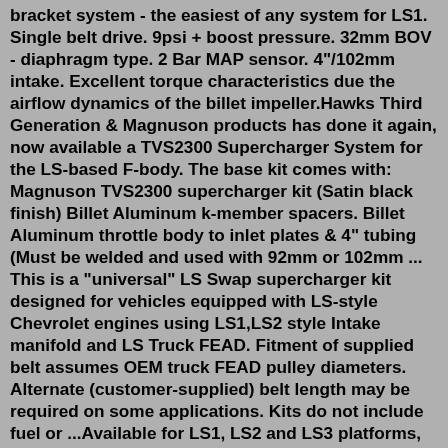bracket system - the easiest of any system for LS1. Single belt drive. 9psi + boost pressure. 32mm BOV - diaphragm type. 2 Bar MAP sensor. 4"/102mm intake. Excellent torque characteristics due the airflow dynamics of the billet impeller.Hawks Third Generation & Magnuson products has done it again, now available a TVS2300 Supercharger System for the LS-based F-body. The base kit comes with: Magnuson TVS2300 supercharger kit (Satin black finish) Billet Aluminum k-member spacers. Billet Aluminum throttle body to inlet plates & 4" tubing (Must be welded and used with 92mm or 102mm ... This is a "universal" LS Swap supercharger kit designed for vehicles equipped with LS-style Chevrolet engines using LS1,LS2 style Intake manifold and LS Truck FEAD. Fitment of supplied belt assumes OEM truck FEAD pulley diameters. Alternate (customer-supplied) belt length may be required on some applications. Kits do not include fuel or ...Available for LS1, LS2 and LS3 platforms, this supercharger kit (PN 05-00-033) displaces 2.3